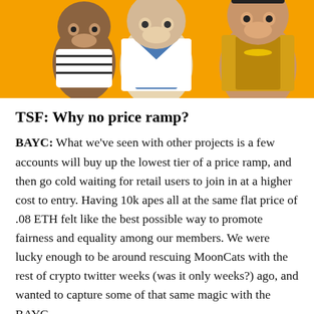[Figure (illustration): Illustrated cartoon characters (apes) in stylized clothing against an orange background. Three figures visible: one in striped shirt on left, one in white jacket with blue shirt in center, one in gold jacket on right.]
TSF: Why no price ramp?
BAYC: What we've seen with other projects is a few accounts will buy up the lowest tier of a price ramp, and then go cold waiting for retail users to join in at a higher cost to entry. Having 10k apes all at the same flat price of .08 ETH felt like the best possible way to promote fairness and equality among our members. We were lucky enough to be around rescuing MoonCats with the rest of crypto twitter weeks (was it only weeks?) ago, and wanted to capture some of that same magic with the BAYC.
TSF: Jimmy and Pranksy REALLY like the apes. What are your thoughts on their